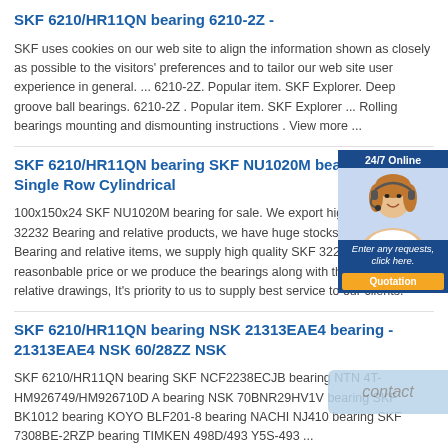SKF 6210/HR11QN bearing 6210-2Z -
SKF uses cookies on our web site to align the information shown as closely as possible to the visitors' preferences and to tailor our web site user experience in general. ... 6210-2Z. Popular item. SKF Explorer. Deep groove ball bearings. 6210-2Z . Popular item. SKF Explorer ... Rolling bearings mounting and dismounting instructions . View more ...
SKF 6210/HR11QN bearing SKF NU1020M bearing - NU10... Single Row Cylindrical
100x150x24 SKF NU1020M bearing for sale. We export high quantities 32232 Bearing and relative products, we have huge stocks for SKF 32... Bearing and relative items, we supply high quality SKF 32232 Bearing reasonbable price or we produce the bearings along with the technica... or relative drawings, It's priority to us to supply best service to our clients.
SKF 6210/HR11QN bearing NSK 21313EAE4 bearing - 21313EAE4 NSK 60/28ZZ NSK
SKF 6210/HR11QN bearing SKF NCF2238ECJB bearing NTN 4T-HM926749/HM926710D A bearing NSK 70BNR29HV1V bearing SKF BK1012 bearing KOYO BLF201-8 bearing NACHI NJ410 bearing SKF 7308BE-2RZP bearing TIMKEN 498D/493 Y5S-493 ...
SKF 6210/HR11QN bearing Manufacturers SKF NKIB 5903 Bearing ...